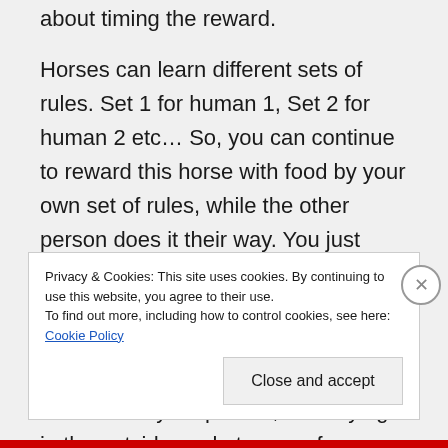about timing the reward.
Horses can learn different sets of rules. Set 1 for human 1, Set 2 for human 2 etc… So, you can continue to reward this horse with food by your own set of rules, while the other person does it their way. You just have to establish those rules. Your rules will be that the horse is not to make a bid for the food, or your person. Help him out by not carrying the food on your person, or carrying it in the outside pockets away from
Privacy & Cookies: This site uses cookies. By continuing to use this website, you agree to their use.
To find out more, including how to control cookies, see here: Cookie Policy